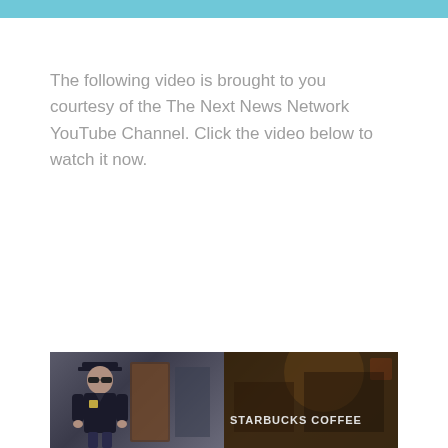The following video is brought to you courtesy of the The Next News Network YouTube Channel. Click the video below to watch it now.
[Figure (photo): Video thumbnail showing a police officer on the left side and a Starbucks Coffee storefront on the right side.]